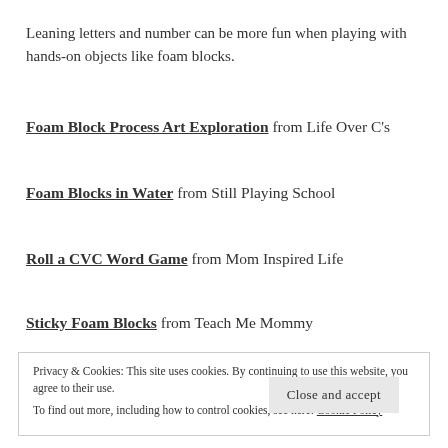Leaning letters and number can be more fun when playing with hands-on objects like foam blocks.
Foam Block Process Art Exploration from Life Over C’s
Foam Blocks in Water from Still Playing School
Roll a CVC Word Game from Mom Inspired Life
Sticky Foam Blocks from Teach Me Mommy
Privacy & Cookies: This site uses cookies. By continuing to use this website, you agree to their use. To find out more, including how to control cookies, see here: Cookie Policy